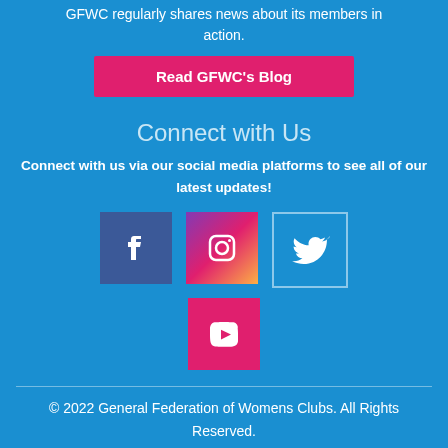GFWC regularly shares news about its members in action.
[Figure (other): Pink 'Read GFWC's Blog' button]
Connect with Us
Connect with us via our social media platforms to see all of our latest updates!
[Figure (other): Social media icons: Facebook, Instagram, Twitter, YouTube]
© 2022 General Federation of Womens Clubs. All Rights Reserved.